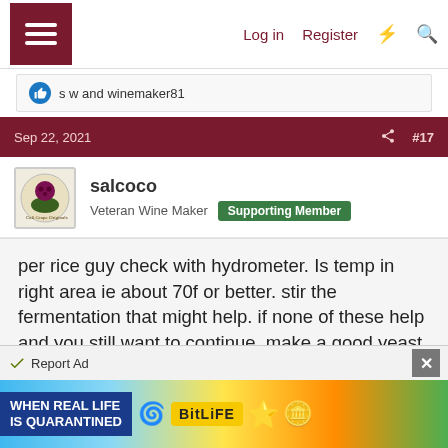Log in  Register
s w and winemaker81
Sep 22, 2021  #17
salcoco
Veteran Wine Maker  Supporting Member
per rice guy check with hydrometer. Is temp in right area ie about 70f or better. stir the fermentation that might help. if none of these help and you still want to continue. make a good yeast starter once foaming well add one cup of must get it foaming and two cups start it foaming add 4 cups continue doubling volume after each fermentation restart.
Report Ad